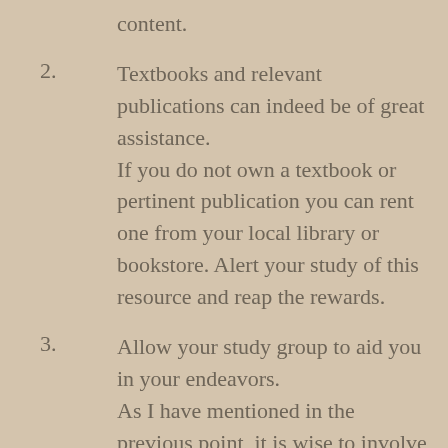content.
2. Textbooks and relevant publications can indeed be of great assistance. If you do not own a textbook or pertinent publication you can rent one from your local library or bookstore. Alert your study of this resource and reap the rewards.
3. Allow your study group to aid you in your endeavors. As I have mentioned in the previous point, it is wise to involve your study group in your larger assessments for